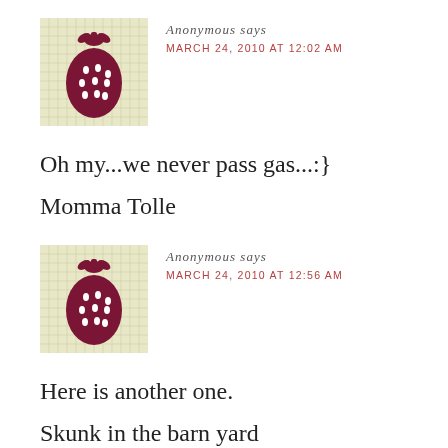[Figure (illustration): Strawberry avatar icon on a light yellow-green grid background, dark burgundy/maroon strawberry illustration]
Anonymous says
MARCH 24, 2010 AT 12:02 AM
Oh my...we never pass gas...:}
Momma Tolle
[Figure (illustration): Strawberry avatar icon on a light yellow-green grid background, dark burgundy/maroon strawberry illustration]
Anonymous says
MARCH 24, 2010 AT 12:56 AM
Here is another one.
Skunk in the barn yard